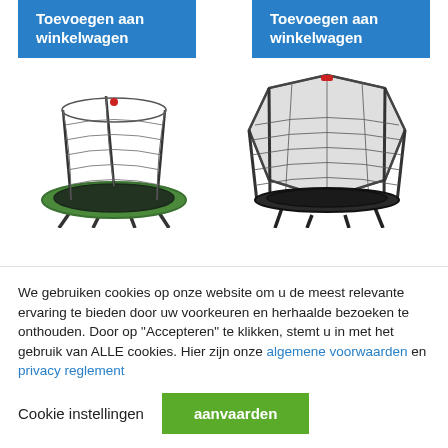[Figure (screenshot): Two blue 'Toevoegen aan winkelwagen' (add to cart) buttons side by side at the top of the page]
[Figure (photo): Two trampoline product images side by side: left is a round green trampoline with safety net, right is a larger hexagonal dark trampoline with safety net enclosure]
We gebruiken cookies op onze website om u de meest relevante ervaring te bieden door uw voorkeuren en herhaalde bezoeken te onthouden. Door op "Accepteren" te klikken, stemt u in met het gebruik van ALLE cookies. Hier zijn onze algemene voorwaarden en privacy reglement
Cookie instellingen
aanvaarden